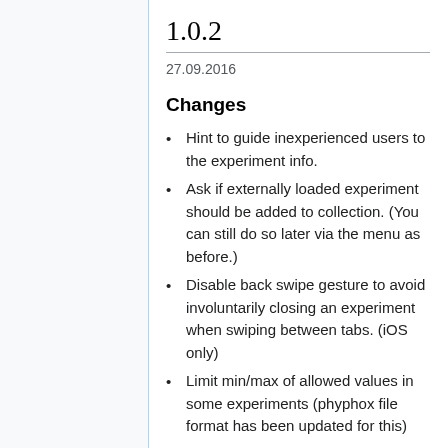1.0.2
27.09.2016
Changes
Hint to guide inexperienced users to the experiment info.
Ask if externally loaded experiment should be added to collection. (You can still do so later via the menu as before.)
Disable back swipe gesture to avoid involuntarily closing an experiment when swiping between tabs. (iOS only)
Limit min/max of allowed values in some experiments (phyphox file format has been updated for this)
Values entered in experiments are now only used for calculations after